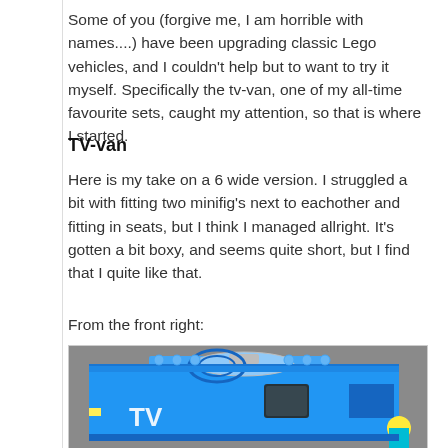Some of you (forgive me, I am horrible with names....) have been upgrading classic Lego vehicles, and I couldn't help but to want to try it myself. Specifically the tv-van, one of my all-time favourite sets, caught my attention, so that is where I started.
TV-van
Here is my take on a 6 wide version. I struggled a bit with fitting two minifig's next to eachother and fitting in seats, but I think I managed allright. It's gotten a bit boxy, and seems quite short, but I find that I quite like that.
From the front right:
[Figure (photo): Photo of a blue Lego TV-van build, showing the front-right angle. The van has a satellite dish on top, TV lettering on the side, studs visible throughout, and a minifigure visible in the lower right area.]